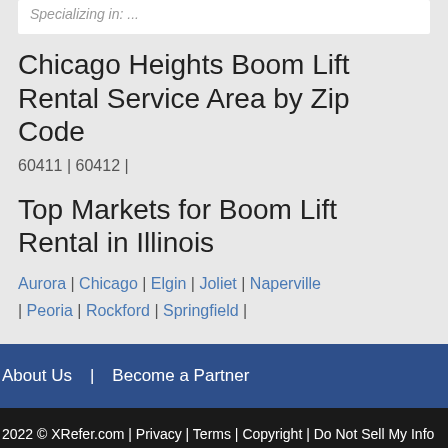Specializing in: ...
Chicago Heights Boom Lift Rental Service Area by Zip Code
60411 | 60412 |
Top Markets for Boom Lift Rental in Illinois
Aurora | Chicago | Elgin | Joliet | Naperville | Peoria | Rockford | Springfield |
About Us  |  Become a Partner
2022 © XRefer.com | Privacy | Terms | Copyright | Do Not Sell My Info